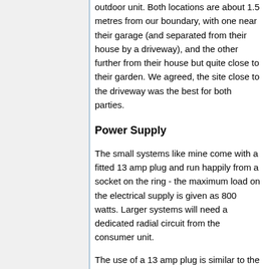outdoor unit. Both locations are about 1.5 metres from our boundary, with one near their garage (and separated from their house by a driveway), and the other further from their house but quite close to their garden. We agreed, the site close to the driveway was the best for both parties.
Power Supply
The small systems like mine come with a fitted 13 amp plug and run happily from a socket on the ring - the maximum load on the electrical supply is given as 800 watts. Larger systems will need a dedicated radial circuit from the consumer unit.
The use of a 13 amp plug is similar to the approach taken for other small electrical loads such as my gas-fired